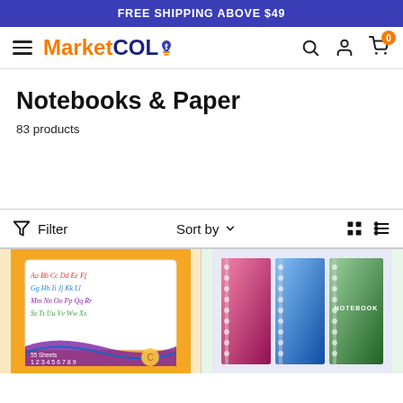FREE SHIPPING ABOVE $49
[Figure (logo): MarketCOL logo with hamburger menu, search, user, and cart icons showing 0 items]
Notebooks & Paper
83 products
Filter  Sort by  (grid/list view icons)
[Figure (photo): Orange notebook product image with cursive alphabet letters]
[Figure (photo): Colorful spiral notebooks in pink, blue, and green]